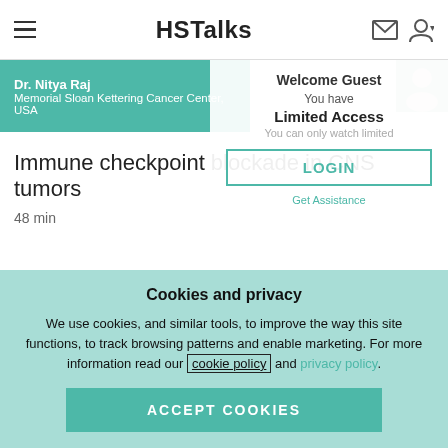HSTalks
Dr. Nitya Raj
Memorial Sloan Kettering Cancer Center, USA
Welcome Guest
You have
Limited Access
You can only watch limited
LOGIN
Get Assistance
Immune checkpoint blockade in CNS tumors
48 min
Dr. Md. David A. Reardon
Center for Neuro-Oncology Dana-Farber Cancer Institute
Cookies and privacy
We use cookies, and similar tools, to improve the way this site functions, to track browsing patterns and enable marketing. For more information read our cookie policy and privacy policy.
ACCEPT COOKIES